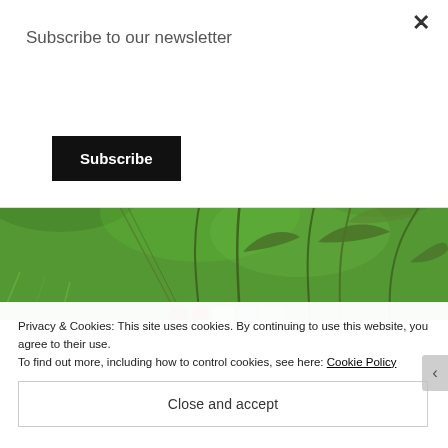Subscribe to our newsletter
Subscribe
[Figure (photo): Close-up photo of green grass and emerging plant shoots, with colorful objects visible at the bottom edge]
Privacy & Cookies: This site uses cookies. By continuing to use this website, you agree to their use.
To find out more, including how to control cookies, see here: Cookie Policy
Close and accept